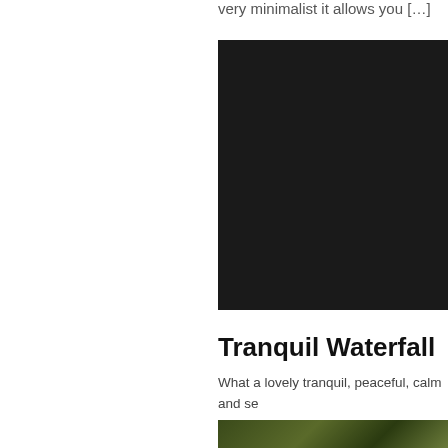very minimalist it allows you […]
[Figure (photo): Dark/black photograph, mostly black content]
Tranquil Waterfall
What a lovely tranquil, peaceful, calm and se… more calming wallpaper to relax to after a ha… allowing your mind to take you somewhere p…
[Figure (photo): Partial photo showing green foliage/nature scene at bottom of page]